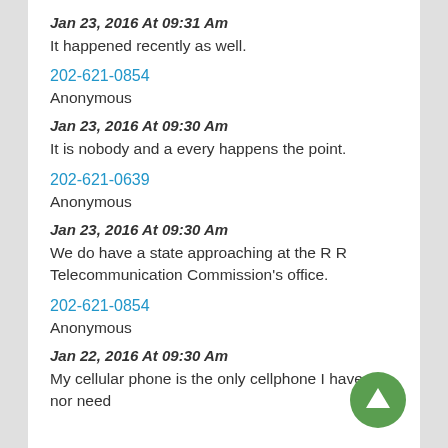Jan 23, 2016 At 09:31 Am
It happened recently as well.
202-621-0854
Anonymous
Jan 23, 2016 At 09:30 Am
It is nobody and a every happens the point.
202-621-0639
Anonymous
Jan 23, 2016 At 09:30 Am
We do have a state approaching at the R R Telecommunication Commission's office.
202-621-0854
Anonymous
Jan 22, 2016 At 09:30 Am
My cellular phone is the only cellphone I have , nor need